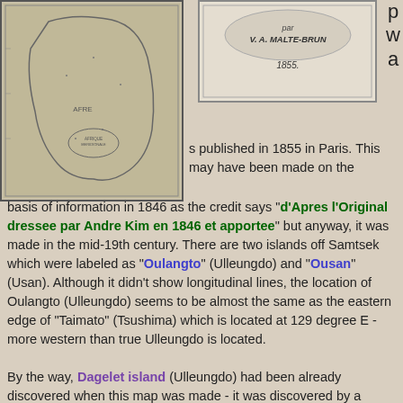[Figure (map): Old map showing Africa or Korea region, black and white engraving style]
[Figure (illustration): Title page or label reading 'V. A. MALTE-BRUN 1855.']
p w a s published in 1855 in Paris. This may have been made on the basis of information in 1846 as the credit says "d'Apres l'Original dressee par Andre Kim en 1846 et apportee" but anyway, it was made in the mid-19th century. There are two islands off Samtsek which were labeled as "Oulangto" (Ulleungdo) and "Ousan" (Usan). Although it didn't show longitudinal lines, the location of Oulangto (Ulleungdo) seems to be almost the same as the eastern edge of "Taimato" (Tsushima) which is located at 129 degree E - more western than true Ulleungdo is located.
By the way, Dagelet island (Ulleungdo) had been already discovered when this map was made - it was discovered by a French ship in 1787. Liancourt Rocks was yet to be discovered (if the information was given in 1846 - three years earlier than 1849 when Liancourt Rocks were discovered), but the rocks were discovered 6 years earlier than the publicartion year. So if the French mapmaker knew